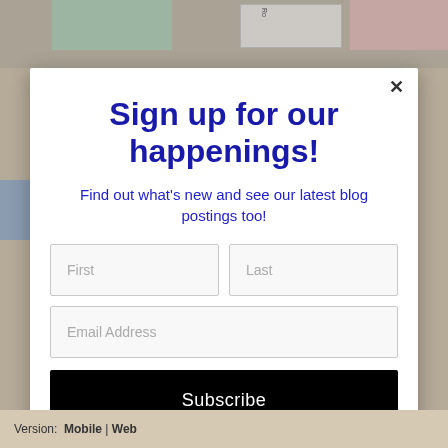[Figure (screenshot): Background map view partially visible behind a modal dialog overlay]
Sign up for our happenings!
Find out what's new and see our latest blog postings too!
First | Last | Email Address | Subscribe
Version: Mobile | Web